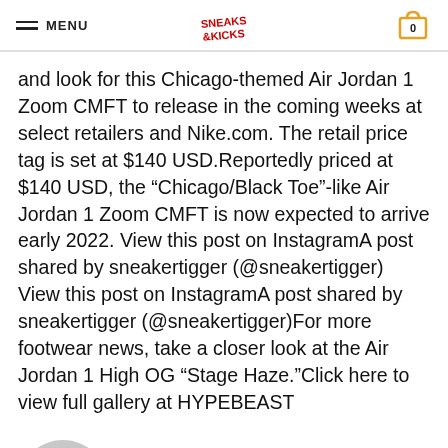MENU | Sneaks & Kicks logo | Cart (0)
and look for this Chicago-themed Air Jordan 1 Zoom CMFT to release in the coming weeks at select retailers and Nike.com. The retail price tag is set at $140 USD.Reportedly priced at $140 USD, the "Chicago/Black Toe"-like Air Jordan 1 Zoom CMFT is now expected to arrive early 2022. View this post on InstagramA post shared by sneakertigger (@sneakertigger) View this post on InstagramA post shared by sneakertigger (@sneakertigger)For more footwear news, take a closer look at the Air Jordan 1 High OG “Stage Haze.”Click here to view full gallery at HYPEBEAST
[Figure (illustration): Gray avatar/person silhouette circle icon representing Sneaker Blogger author]
Sneaker Blogger